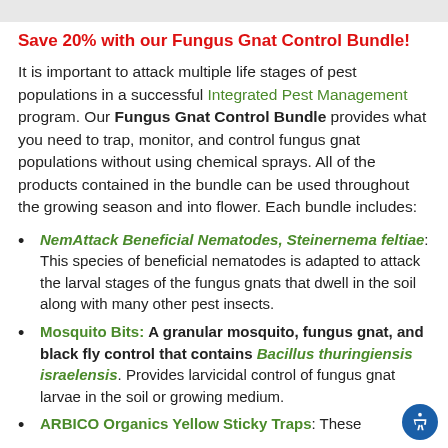Save 20% with our Fungus Gnat Control Bundle!
It is important to attack multiple life stages of pest populations in a successful Integrated Pest Management program. Our Fungus Gnat Control Bundle provides what you need to trap, monitor, and control fungus gnat populations without using chemical sprays. All of the products contained in the bundle can be used throughout the growing season and into flower. Each bundle includes:
NemAttack Beneficial Nematodes, Steinernema feltiae: This species of beneficial nematodes is adapted to attack the larval stages of the fungus gnats that dwell in the soil along with many other pest insects.
Mosquito Bits: A granular mosquito, fungus gnat, and black fly control that contains Bacillus thuringiensis israelensis. Provides larvicidal control of fungus gnat larvae in the soil or growing medium.
ARBICO Organics Yellow Sticky Traps: These